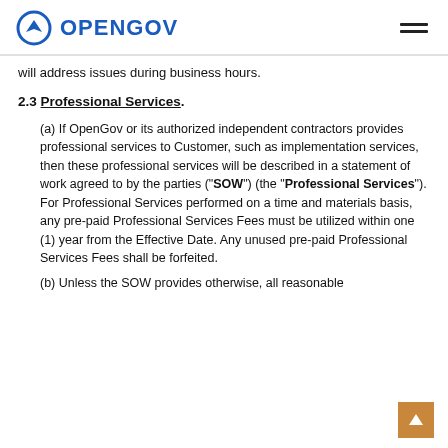OPENGOV
will address issues during business hours.
2.3 Professional Services.
(a) If OpenGov or its authorized independent contractors provides professional services to Customer, such as implementation services, then these professional services will be described in a statement of work agreed to by the parties (“SOW”) (the “Professional Services”). For Professional Services performed on a time and materials basis, any pre-paid Professional Services Fees must be utilized within one (1) year from the Effective Date. Any unused pre-paid Professional Services Fees shall be forfeited.
(b) Unless the SOW provides otherwise, all reasonable